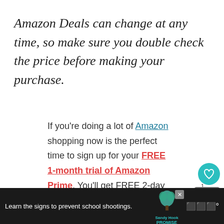Amazon Deals can change at any time, so make sure you double check the price before making your purchase.
If you're doing a lot of Amazon shopping now is the perfect time to sign up for your FREE 1-month trial of Amazon Prime. You'll get FREE 2-day shipping, FR... movie rentals, FREE television...
[Figure (screenshot): Heart/save button overlay (teal circle with heart icon), share button with count 1, and 'What's Next' preview showing 'Save 30% on the Graco...']
[Figure (screenshot): Ad banner at bottom: dark background with text 'Learn the signs to prevent school shootings.' and Sandy Hook Promise logo with tree graphic, close button X]